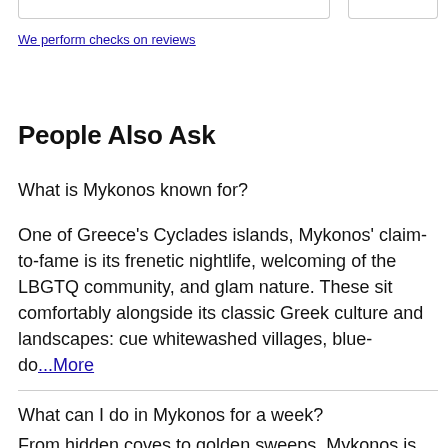We perform checks on reviews
People Also Ask
What is Mykonos known for?
One of Greece's Cyclades islands, Mykonos' claim-to-fame is its frenetic nightlife, welcoming of the LBGTQ community, and glam nature. These sit comfortably alongside its classic Greek culture and landscapes: cue whitewashed villages, blue-do ...More
What can I do in Mykonos for a week?
From hidden coves to golden sweeps, Mykonos is